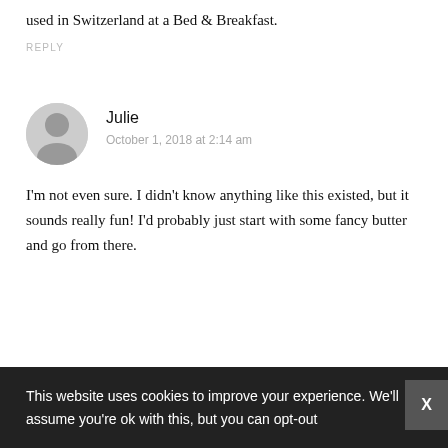and the like. I have a wonderful steak butter recipe used in Switzerland at a Bed & Breakfast.
REPLY
Julie
October 1, 2018 at 2:14 am
I'm not even sure. I didn't know anything like this existed, but it sounds really fun! I'd probably just start with some fancy butter and go from there.
This website uses cookies to improve your experience. We'll assume you're ok with this, but you can opt-out